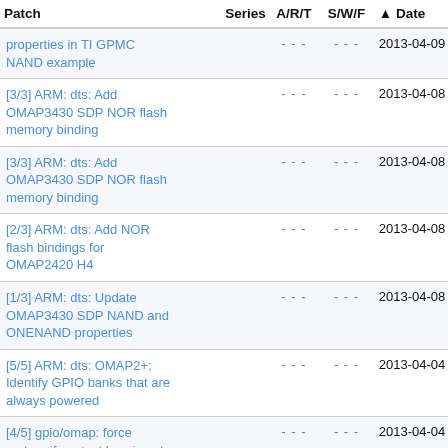| Patch | Series | A/R/T | S/W/F | Date |
| --- | --- | --- | --- | --- |
| properties in TI GPMC NAND example |  | - - - | - - - | 2013-04-09 |
| [3/3] ARM: dts: Add OMAP3430 SDP NOR flash memory binding |  | - - - | - - - | 2013-04-08 |
| [3/3] ARM: dts: Add OMAP3430 SDP NOR flash memory binding |  | - - - | - - - | 2013-04-08 |
| [2/3] ARM: dts: Add NOR flash bindings for OMAP2420 H4 |  | - - - | - - - | 2013-04-08 |
| [1/3] ARM: dts: Update OMAP3430 SDP NAND and ONENAND properties |  | - - - | - - - | 2013-04-08 |
| [5/5] ARM: dts: OMAP2+: Identify GPIO banks that are always powered |  | - - - | - - - | 2013-04-04 |
| [4/5] gpio/omap: force restore if context loss is not detectable |  | - - - | - - - | 2013-04-04 |